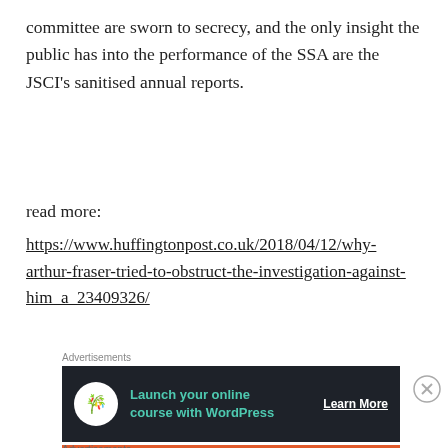committee are sworn to secrecy, and the only insight the public has into the performance of the SSA are the JSCI's sanitised annual reports.
read more:
https://www.huffingtonpost.co.uk/2018/04/12/why-arthur-fraser-tried-to-obstruct-the-investigation-against-him_a_23409326/
[Figure (screenshot): Advertisement banner: dark background with tree/bonsai icon, teal text 'Launch your online course with WordPress', white 'Learn More' button]
[Figure (screenshot): Advertisement banner: orange background, white bold text 'Search, browse, and email with more privacy. All in One Free App', DuckDuckGo logo and phone mockup on right]